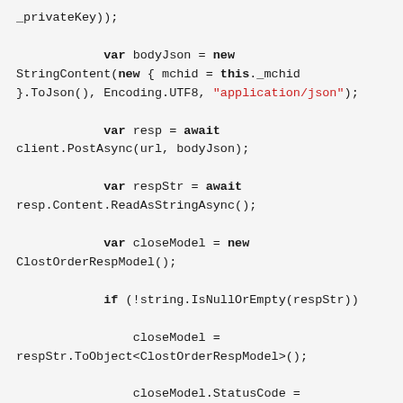_privateKey));

            var bodyJson = new StringContent(new { mchid = this._mchid }.ToJson(), Encoding.UTF8, "application/json");

            var resp = await client.PostAsync(url, bodyJson);

            var respStr = await resp.Content.ReadAsStringAsync();

            var closeModel = new ClostOrderRespModel();

            if (!string.IsNullOrEmpty(respStr))

                closeModel = respStr.ToObject<ClostOrderRespModel>();

                closeModel.StatusCode = resp.StatusCode.ToString();

                return closeModel;